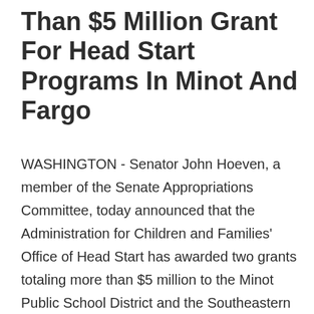Than $5 Million Grant For Head Start Programs In Minot And Fargo
WASHINGTON - Senator John Hoeven, a member of the Senate Appropriations Committee, today announced that the Administration for Children and Families' Office of Head Start has awarded two grants totaling more than $5 million to the Minot Public School District and the Southeastern North Dakota Community Action Agency in Fargo. Details of the funds, which will support Head Start